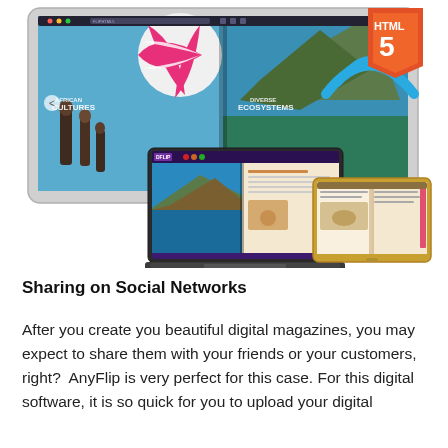[Figure (illustration): Product illustration showing a desktop monitor, laptop, and tablet each displaying a digital magazine/flipbook interface, with an HTML5 logo badge in the upper right corner. The monitor shows a flipbook with 'African Cultures' and 'Diverse Ecosystems' content, the laptop shows a coastal scene, and the tablet shows an open book layout.]
Sharing on Social Networks
After you create you beautiful digital magazines, you may expect to share them with your friends or your customers, right?  AnyFlip is very perfect for this case. For this digital software, it is so quick for you to upload your digital